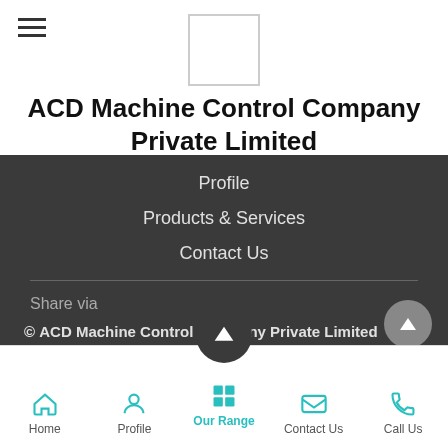[Figure (logo): Company logo placeholder box (white rectangle with border)]
ACD Machine Control Company Private Limited
Profile
Products & Services
Contact Us
Share via
© ACD Machine Control Company Private Limited
Home | Profile | Our Range | Contact Us | Call Us